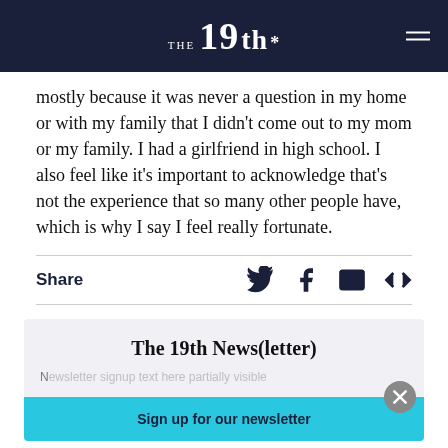THE 19th*
mostly because it was never a question in my home or with my family that I didn't come out to my mom or my family. I had a girlfriend in high school. I also feel like it's important to acknowledge that's not the experience that so many other people have, which is why I say I feel really fortunate.
Share
[Figure (infographic): The 19th News(letter) newsletter signup section with a cyan 'Sign up for our newsletter' banner and a close button]
The 19th News(letter)